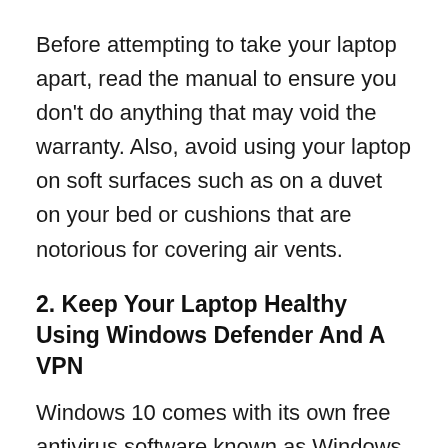Before attempting to take your laptop apart, read the manual to ensure you don't do anything that may void the warranty. Also, avoid using your laptop on soft surfaces such as on a duvet on your bed or cushions that are notorious for covering air vents.
2. Keep Your Laptop Healthy Using Windows Defender And A VPN
Windows 10 comes with its own free antivirus software known as Windows Defender. It protects your computer against software threats such as spyware, malware, and